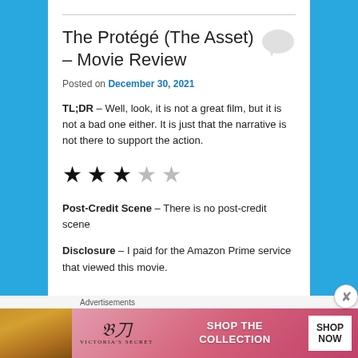The Protégé (The Asset) – Movie Review
Posted on December 30, 2021
TL;DR – Well, look, it is not a great film, but it is not a bad one either. It is just that the narrative is not there to support the action.
[Figure (other): 3 out of 5 stars rating: three filled black stars and two grey empty stars]
Post-Credit Scene – There is no post-credit scene
Disclosure – I paid for the Amazon Prime service that viewed this movie.
Advertisements
[Figure (illustration): Victoria's Secret advertisement banner: pink/red gradient background, woman's photo on left, VS logo, text 'SHOP THE COLLECTION', white button 'SHOP NOW']